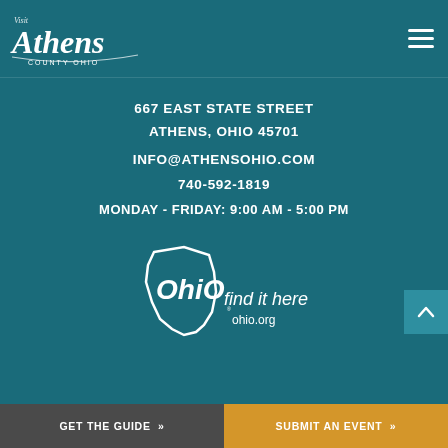[Figure (logo): Visit Athens County Ohio logo in white script text on teal background]
667 EAST STATE STREET
ATHENS, OHIO 45701
INFO@ATHENSOHIO.COM
740-592-1819
MONDAY - FRIDAY: 9:00 AM - 5:00 PM
[Figure (logo): Ohio Find It Here ohio.org logo in white outline on teal background]
GET THE GUIDE »    SUBMIT AN EVENT »